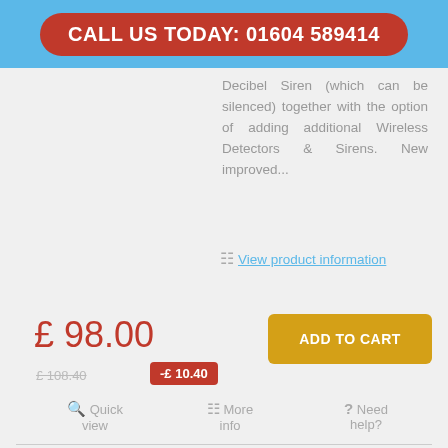CALL US TODAY: 01604 589414
Decibel Siren (which can be silenced) together with the option of adding additional Wireless Detectors & Sirens. New improved...
View product information
£ 98.00
ADD TO CART
£ 108.40
-£ 10.40
Quick view
More info
Need help?
[Figure (photo): Product image showing alarm devices - phone, panel, keypad, siren]
BATTERY GSM ULTRADIAL